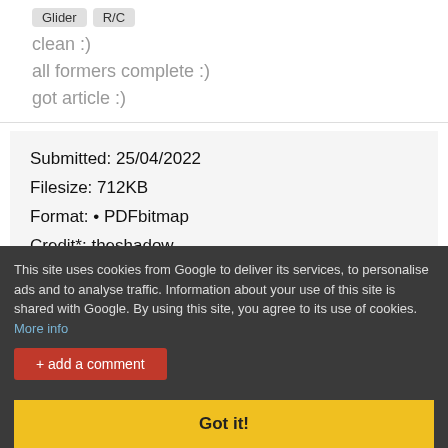Glider  R/C
clean :)
all formers complete :)
got article :)
Submitted: 25/04/2022
Filesize: 712KB
Format: • PDFbitmap
Credit*: theshadow
Do you have a photo you'd like to submit for this page? Then email admin@outerzone.co.uk
User comments
No comments yet for this plan. Got something to say about
This site uses cookies from Google to deliver its services, to personalise ads and to analyse traffic. Information about your use of this site is shared with Google. By using this site, you agree to its use of cookies. More info
+ add a comment